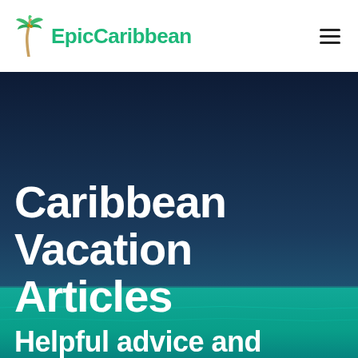[Figure (logo): EpicCaribbean logo with palm tree icon and green text]
[Figure (photo): Caribbean ocean hero photo with dark blue sky above and turquoise sea below, overlaid with large white bold text reading 'Caribbean Vacation Articles' and partially visible subtitle 'Helpful advice and']